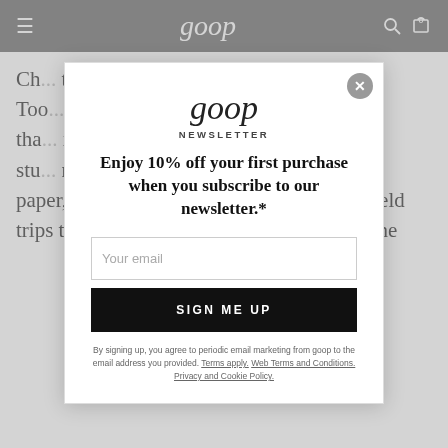goop
Ch... tea... di... cla... sta... d. Too... tha... ir stu... n, paper, and textbooks, cooking-classes, or field trips to the science museum and tickets to the
[Figure (screenshot): Goop newsletter signup modal overlay with close button, logo, headline 'Enjoy 10% off your first purchase when you subscribe to our newsletter.*', email input, SIGN ME UP button, and legal disclaimer text.]
goop
NEWSLETTER
Enjoy 10% off your first purchase when you subscribe to our newsletter.*
Your email
SIGN ME UP
By signing up, you agree to periodic email marketing from goop to the email address you provided. Terms apply. Web Terms and Conditions. Privacy and Cookie Policy.